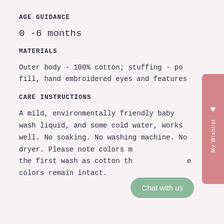AGE GUIDANCE
0 -6 months
MATERIALS
Outer body - 100% cotton; stuffing - po fill, hand embroidered eyes and features
CARE INSTRUCTIONS
A mild, environmentally friendly baby wash liquid, and some cold water, works well. No soaking. No washing machine. No dryer. Please note colors m the first wash as cotton th e colors remain intact.